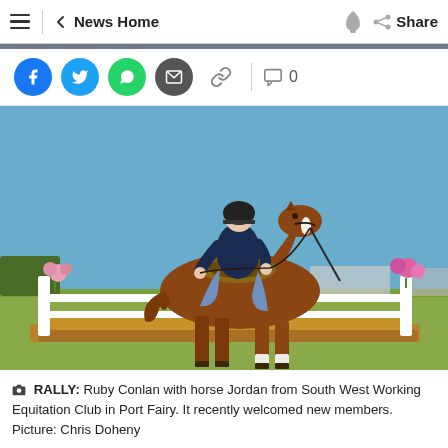News Home  Share
[Figure (photo): Person riding a chestnut horse on a wooden platform with white fence rails at a showground. Blue sky background, green grass, flowers on fence posts.]
RALLY: Ruby Conlan with horse Jordan from South West Working Equitation Club in Port Fairy. It recently welcomed new members. Picture: Chris Doheny